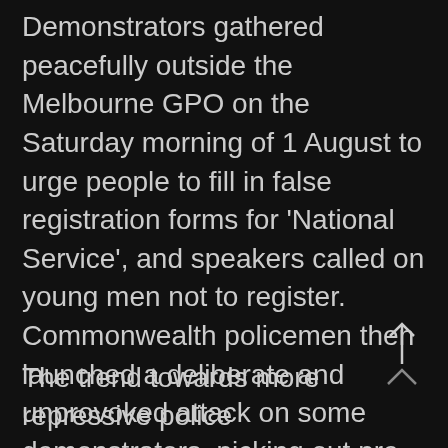Demonstrators gathered peacefully outside the Melbourne GPO on the Saturday morning of 1 August to urge people to fill in false registration forms for 'National Service', and speakers called on young men not to register. Commonwealth policemen then launched a deliberate and unprovoked attack on some demonstrators, picking out pre-selected people for arrest. Ugly scenes followed, with the ensuing wild melee lasting twenty minutes. Some demonstrators were hurled down the steps of the GPO. [13].
The trend towards more repressive police